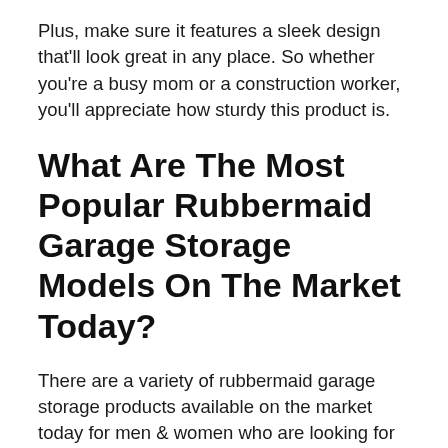Plus, make sure it features a sleek design that'll look great in any place. So whether you're a busy mom or a construction worker, you'll appreciate how sturdy this product is.
What Are The Most Popular Rubbermaid Garage Storage Models On The Market Today?
There are a variety of rubbermaid garage storage products available on the market today for men & women who are looking for quality and reliability. All rubbermaid garage storage models base themselves on the same basic principle. However, they suit different uses for…